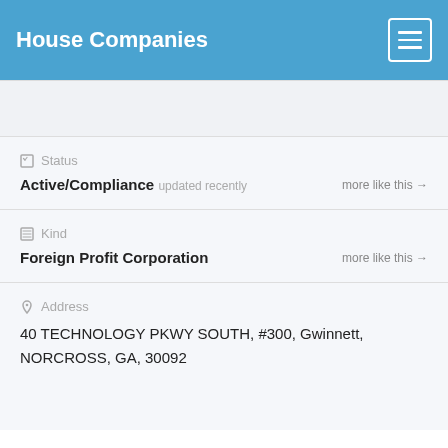House Companies
Status
Active/Compliance updated recently
Kind
Foreign Profit Corporation
Address
40 TECHNOLOGY PKWY SOUTH, #300, Gwinnett, NORCROSS, GA, 30092